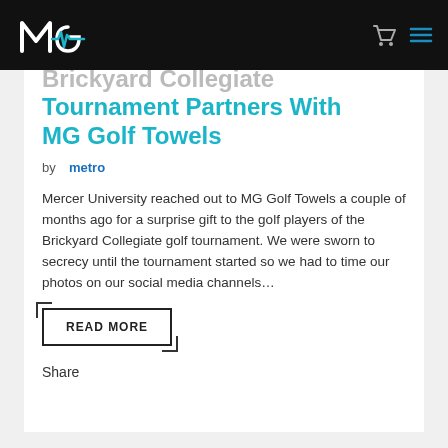MG Golf Towels
Brickyard Collegiate Tournament Partners With MG Golf Towels
by metro
Mercer University reached out to MG Golf Towels a couple of months ago for a surprise gift to the golf players of the Brickyard Collegiate golf tournament. We were sworn to secrecy until the tournament started so we had to time our photos on our social media channels...
READ MORE
Share